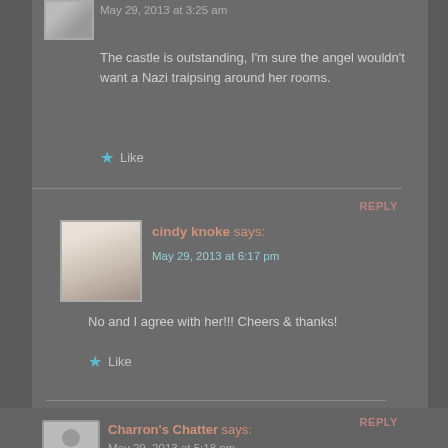May 29, 2013 at 3:25 am
The castle is outstanding, I'm sure the angel wouldn't want a Nazi traipsing around her rooms.
Like
cindy knoke says:
May 29, 2013 at 6:17 pm
REPLY
No and I agree with her!!! Cheers & thanks!
Like
Charron's Chatter says:
REPLY
May 29, 2013 at 5:18 pm